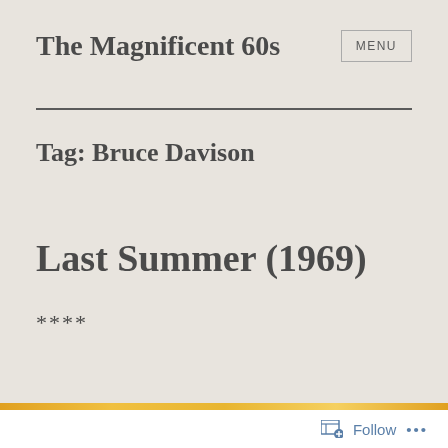The Magnificent 60s
Tag: Bruce Davison
Last Summer (1969)
****
Follow ...